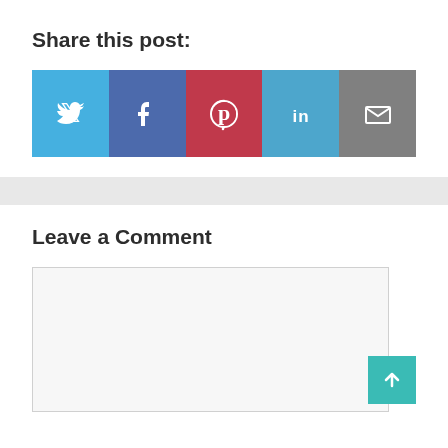Share this post:
[Figure (infographic): Row of five social media share buttons: Twitter (light blue), Facebook (dark blue), Pinterest (red), LinkedIn (medium blue), Email (gray), each containing a white icon]
Leave a Comment
[Figure (screenshot): Comment text area input field with light gray background, and a teal scroll-to-top button with an up arrow in the bottom right corner]